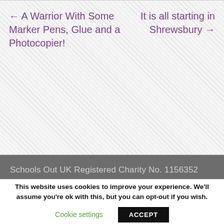← A Warrior With Some Marker Pens, Glue and a Photocopier!
It is all starting in Shrewsbury →
Schools Out UK Registered Charity No. 1156352
Contact
chairs@schools-out.org.uk
Web Development by Bethany Stanley
This website uses cookies to improve your experience. We'll assume you're ok with this, but you can opt-out if you wish.
Cookie settings
ACCEPT